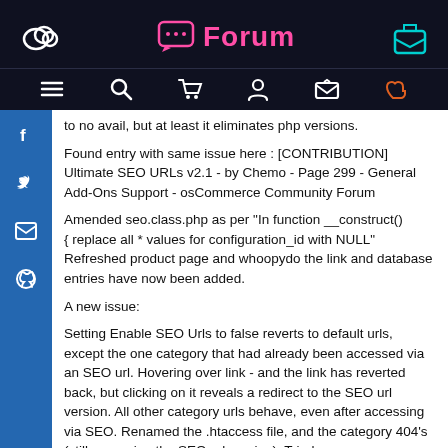Forum
to no avail, but at least it eliminates php versions.
Found entry with same issue here : [CONTRIBUTION] Ultimate SEO URLs v2.1 - by Chemo - Page 299 - General Add-Ons Support - osCommerce Community Forum
Amended seo.class.php as per "In function __construct()
{ replace all * values for configuration_id with NULL"
Refreshed product page and whoopydo the link and database entries have now been added.
A new issue:
Setting Enable SEO Urls to false reverts to default urls, except the one category that had already been accessed via an SEO url. Hovering over link - and the link has reverted back, but clicking on it reveals a redirect to the SEO url version. All other category urls behave, even after accessing via SEO. Renamed the .htaccess file, and the category 404's (still accessing the SEO url version). Tried